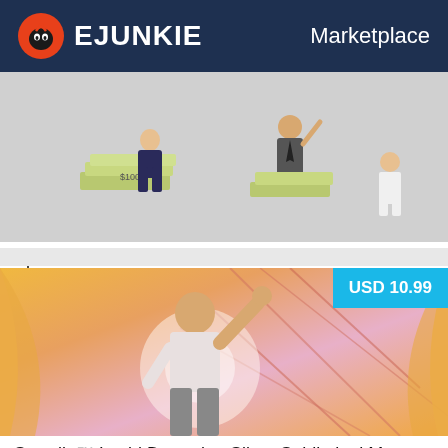EJUNKIE  Marketplace
[Figure (photo): Product image for Sprudio Achievement Attitude Ocean Subliminal — business people standing on stacks of dollar bills]
Sprudio™ Achievement Attitude Ocean Subli...
Sprudio Subliminal
[Figure (photo): Product image for Sprudio Lucid Dreaming Silent Subliminal — man with raised fist against glowing light and geometric background, price badge USD 10.99]
Sprudio™ Lucid Dreaming Silent Subliminal M...
Sprudio Subliminal